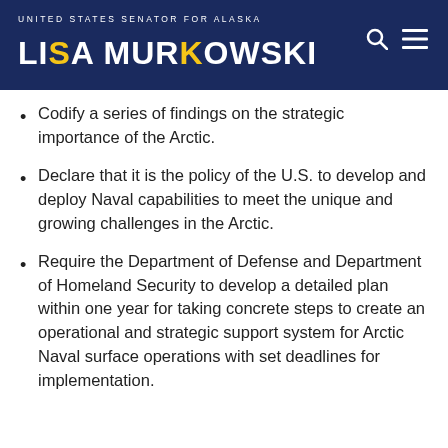UNITED STATES SENATOR FOR ALASKA — LISA MURKOWSKI
Codify a series of findings on the strategic importance of the Arctic.
Declare that it is the policy of the U.S. to develop and deploy Naval capabilities to meet the unique and growing challenges in the Arctic.
Require the Department of Defense and Department of Homeland Security to develop a detailed plan within one year for taking concrete steps to create an operational and strategic support system for Arctic Naval surface operations with set deadlines for implementation.